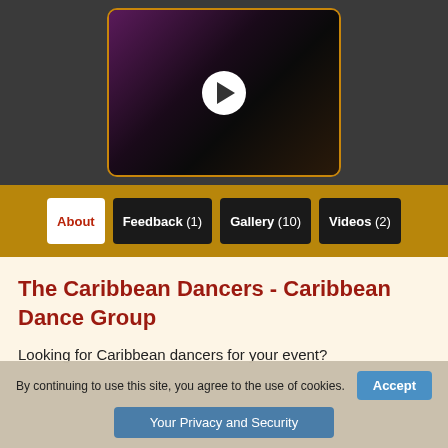[Figure (screenshot): Video thumbnail with play button, showing a dark scene with purple/pink lighting, people dancing in background. Rounded rectangle with gold border.]
About
Feedback (1)
Gallery (10)
Videos (2)
The Caribbean Dancers - Caribbean Dance Group
Looking for Caribbean dancers for your event?
By continuing to use this site, you agree to the use of cookies.
Accept
Your Privacy and Security